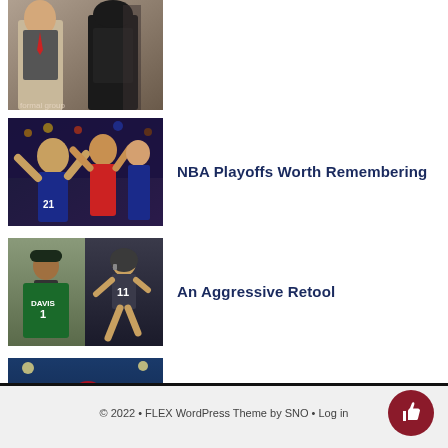[Figure (photo): Partial top photo - appears to be people in formal wear, partially cropped at top of page]
[Figure (photo): Basketball players celebrating, NBA playoffs themed image]
NBA Playoffs Worth Remembering
[Figure (photo): Two-panel sports image: football draft jersey on left, player running on right]
An Aggressive Retool
[Figure (photo): Baseball player in Phillies uniform batting or running]
Phillie Power
© 2022 • FLEX WordPress Theme by SNO • Log in